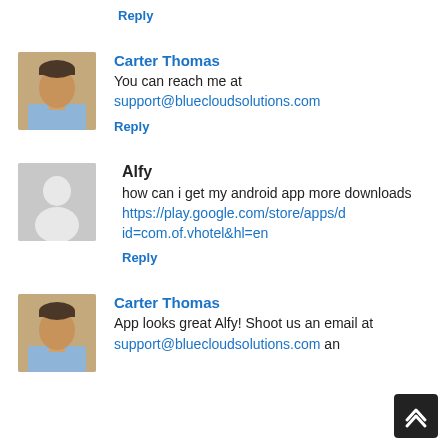Reply
[Figure (photo): Profile photo of Carter Thomas — man in light blue shirt]
Carter Thomas
You can reach me at support@bluecloudsolutions.com
Reply
[Figure (photo): Generic grey silhouette avatar for Alfy]
Alfy
how can i get my android app more downloads https://play.google.com/store/apps/did=com.of.vhotel&hl=en
Reply
[Figure (photo): Profile photo of Carter Thomas — man in light blue shirt]
Carter Thomas
App looks great Alfy! Shoot us an email at support@bluecloudsolutions.com an...